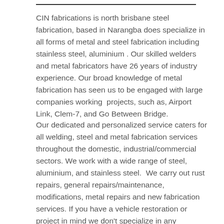CIN fabrications is north brisbane steel fabrication, based in Narangba does specialize in all forms of metal and steel fabrication including stainless steel, aluminium . Our skilled welders and metal fabricators have 26 years of industry experience. Our broad knowledge of metal fabrication has seen us to be engaged with large companies working  projects, such as, Airport Link, Clem-7, and Go Between Bridge.
Our dedicated and personalized service caters for all welding, steel and metal fabrication services throughout the domestic, industrial/commercial sectors. We work with a wide range of steel, aluminium, and stainless steel.  We carry out rust repairs, general repairs/maintenance, modifications, metal repairs and new fabrication services. If you have a vehicle restoration or project in mind we don't specialize in any particular brand, make, model, and